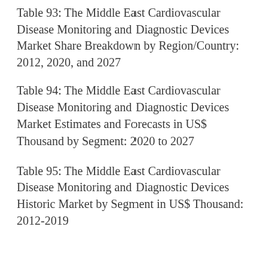Table 93: The Middle East Cardiovascular Disease Monitoring and Diagnostic Devices Market Share Breakdown by Region/Country: 2012, 2020, and 2027
Table 94: The Middle East Cardiovascular Disease Monitoring and Diagnostic Devices Market Estimates and Forecasts in US$ Thousand by Segment: 2020 to 2027
Table 95: The Middle East Cardiovascular Disease Monitoring and Diagnostic Devices Historic Market by Segment in US$ Thousand: 2012-2019